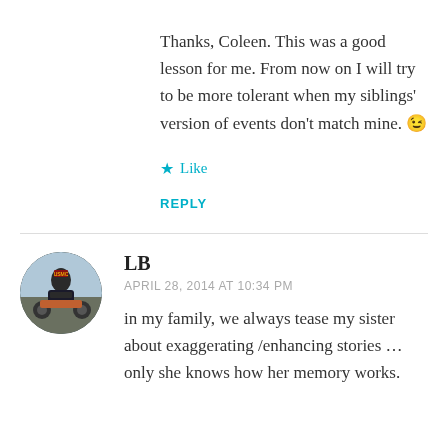Thanks, Coleen. This was a good lesson for me. From now on I will try to be more tolerant when my siblings' version of events don't match mine. 😉
★ Like
REPLY
[Figure (photo): Circular avatar photo of user LB, showing a person on a motorcycle outdoors]
LB
APRIL 28, 2014 AT 10:34 PM
in my family, we always tease my sister about exaggerating /enhancing stories ... only she knows how her memory works.